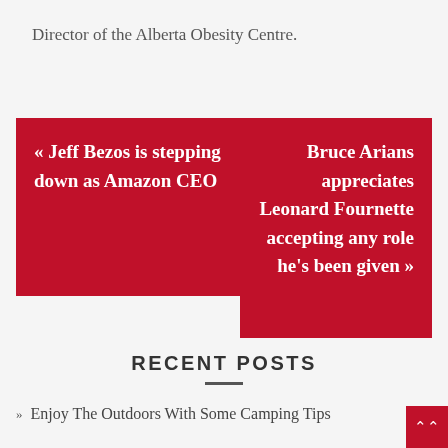Director of the Alberta Obesity Centre.
« Jeff Bezos is stepping down as Amazon CEO
Bruce Arians appreciates Leonard Fournette accepting any role he's been given »
RECENT POSTS
» Enjoy The Outdoors With Some Camping Tips